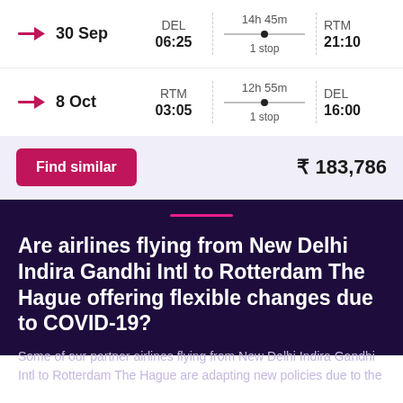| 30 Sep | DEL 06:25 | 14h 45m · 1 stop | RTM 21:10 |
| 8 Oct | RTM 03:05 | 12h 55m · 1 stop | DEL 16:00 |
Find similar    ₹ 183,786
Are airlines flying from New Delhi Indira Gandhi Intl to Rotterdam The Hague offering flexible changes due to COVID-19?
Some of our partner airlines flying from New Delhi Indira Gandhi Intl to Rotterdam The Hague are adapting new policies due to the